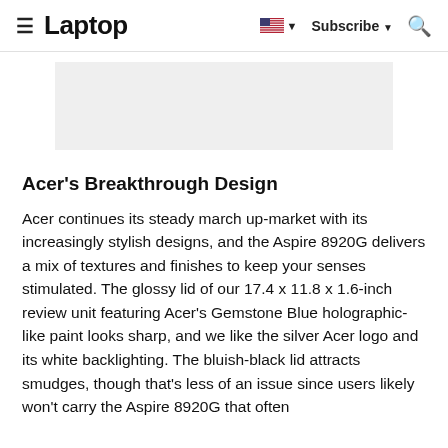≡ Laptop   🇺🇸 ▾   Subscribe ▾   🔍
[Figure (other): Gray advertisement placeholder rectangle]
Acer's Breakthrough Design
Acer continues its steady march up-market with its increasingly stylish designs, and the Aspire 8920G delivers a mix of textures and finishes to keep your senses stimulated. The glossy lid of our 17.4 x 11.8 x 1.6-inch review unit featuring Acer's Gemstone Blue holographic-like paint looks sharp, and we like the silver Acer logo and its white backlighting. The bluish-black lid attracts smudges, though that's less of an issue since users likely won't carry the Aspire 8920G that often